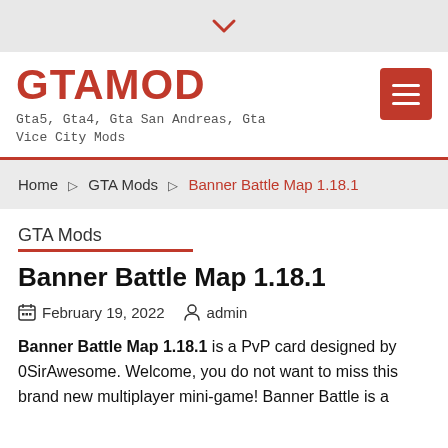▾
GTAMOD
Gta5, Gta4, Gta San Andreas, Gta Vice City Mods
Home › GTA Mods › Banner Battle Map 1.18.1
GTA Mods
Banner Battle Map 1.18.1
February 19, 2022  admin
Banner Battle Map 1.18.1 is a PvP card designed by 0SirAwesome. Welcome, you do not want to miss this brand new multiplayer mini-game! Banner Battle is a